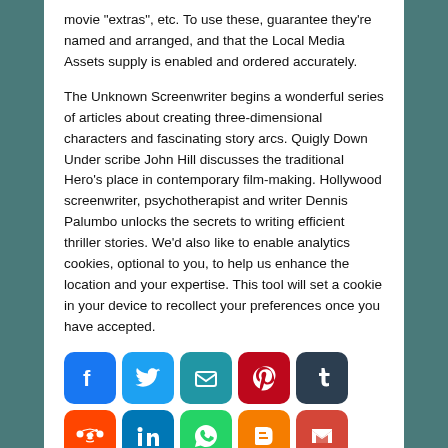movie "extras", etc. To use these, guarantee they're named and arranged, and that the Local Media Assets supply is enabled and ordered accurately.
The Unknown Screenwriter begins a wonderful series of articles about creating three-dimensional characters and fascinating story arcs. Quigly Down Under scribe John Hill discusses the traditional Hero's place in contemporary film-making. Hollywood screenwriter, psychotherapist and writer Dennis Palumbo unlocks the secrets to writing efficient thriller stories. We'd also like to enable analytics cookies, optional to you, to help us enhance the location and your expertise. This tool will set a cookie in your device to recollect your preferences once you have accepted.
[Figure (infographic): Row of social media sharing icon buttons: Facebook, Twitter, Email, Pinterest, Tumblr, Reddit, LinkedIn, WhatsApp, Blogger, Gmail, Telegram, Share]